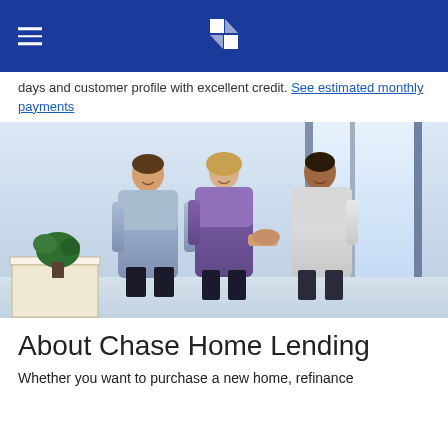Chase logo and navigation header
days and customer profile with excellent credit. See estimated monthly payments
[Figure (photo): Three people in a bright open office or bank lobby: a man in a light blue shirt and a woman in a purple blouse are shaking hands with a woman in a white sweater. There is a plant and a desk in the background.]
About Chase Home Lending
Whether you want to purchase a new home, refinance